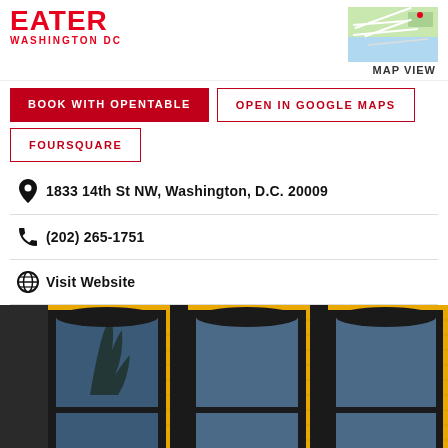EATER WASHINGTON DC
BOOK WITH OPENTABLE
OPEN IN GOOGLE MAPS
FOURSQUARE
1833 14th St NW, Washington, D.C. 20009
(202) 265-1751
Visit Website
[Figure (photo): Exterior of a building with bright yellow brick facade and three large dark-framed windows, photographed from street level]